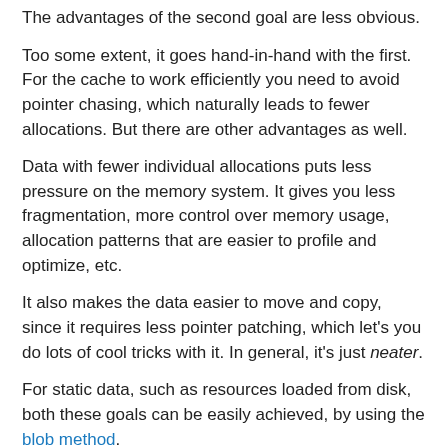The advantages of the second goal are less obvious.
Too some extent, it goes hand-in-hand with the first. For the cache to work efficiently you need to avoid pointer chasing, which naturally leads to fewer allocations. But there are other advantages as well.
Data with fewer individual allocations puts less pressure on the memory system. It gives you less fragmentation, more control over memory usage, allocation patterns that are easier to profile and optimize, etc.
It also makes the data easier to move and copy, since it requires less pointer patching, which let's you do lots of cool tricks with it. In general, it's just neater.
For static data, such as resources loaded from disk, both these goals can be easily achieved, by using the blob method.
For dynamic data, things get trickier. If you just use STL as you are told to, you end up with scary stuff like std::map<